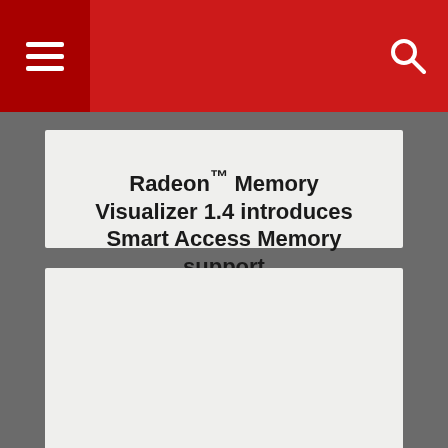Radeon™ Memory Visualizer 1.4 introduces Smart Access Memory support
Find out in this blog post how you can make all memory visible to the CPU in Radeon Memory Visualizer (RMV) v1.4 with Smart Access Memory.